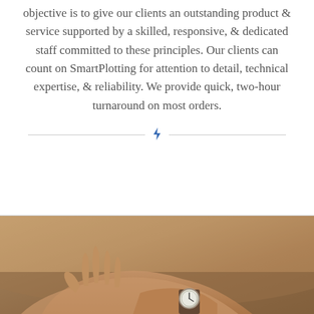objective is to give our clients an outstanding product & service supported by a skilled, responsive, & dedicated staff committed to these principles. Our clients can count on SmartPlotting for attention to detail, technical expertise, & reliability. We provide quick, two-hour turnaround on most orders.
[Figure (illustration): Decorative divider with two horizontal lines and a small blue lightning bolt icon in the center]
[Figure (photo): Close-up photograph of hands, one wearing a watch, resting on a surface]